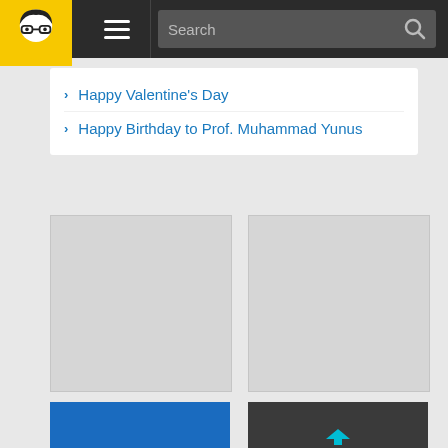[Figure (screenshot): Navigation bar with logo, hamburger menu, search field]
Happy Valentine's Day
Happy Birthday to Prof. Muhammad Yunus
[Figure (other): Gray placeholder advertisement box 1]
[Figure (other): Gray placeholder advertisement box 2]
[Figure (other): Prokashoni Bengali literature archive ad banner]
[Figure (other): Dokan.US Find Businesses from United States ad banner]